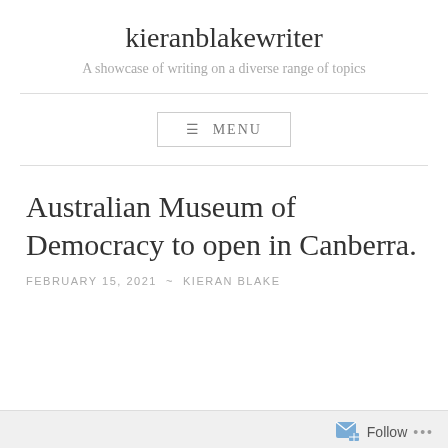kieranblakewriter
A showcase of writing on a diverse range of topics
≡ MENU
Australian Museum of Democracy to open in Canberra.
FEBRUARY 15, 2021  ~  KIERAN BLAKE